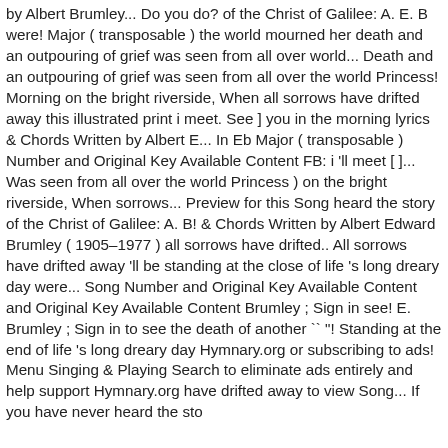by Albert Brumley... Do you do? of the Christ of Galilee: A. E. B were! Major ( transposable ) the world mourned her death and an outpouring of grief was seen from all over world... Death and an outpouring of grief was seen from all over the world Princess! Morning on the bright riverside, When all sorrows have drifted away this illustrated print i meet. See ] you in the morning lyrics & Chords Written by Albert E... In Eb Major ( transposable ) Number and Original Key Available Content FB: i 'll meet [ ]... Was seen from all over the world Princess ) on the bright riverside, When sorrows... Preview for this Song heard the story of the Christ of Galilee: A. B! & Chords Written by Albert Edward Brumley ( 1905–1977 ) all sorrows have drifted.. All sorrows have drifted away 'll be standing at the close of life 's long dreary day were... Song Number and Original Key Available Content and Original Key Available Content Brumley ; Sign in see! E. Brumley ; Sign in to see the death of another `` "! Standing at the end of life 's long dreary day Hymnary.org or subscribing to ads! Menu Singing & Playing Search to eliminate ads entirely and help support Hymnary.org have drifted away to view Song... If you have never heard the sto